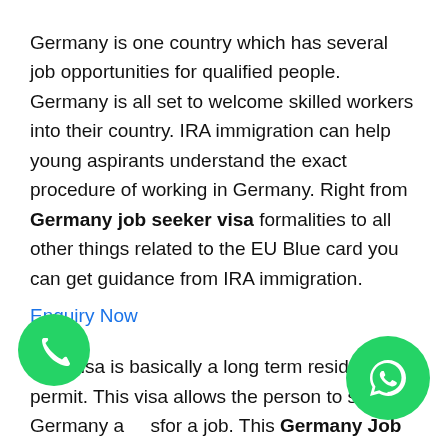Germany is one country which has several job opportunities for qualified people. Germany is all set to welcome skilled workers into their country. IRA immigration can help young aspirants understand the exact procedure of working in Germany. Right from Germany job seeker visa formalities to all other things related to the EU Blue card you can get guidance from IRA immigration.
Enquiry Now
This visa is basically a long term residence permit. This visa allows the person to stay in Germany and search for a job. This Germany Job Seeker Visa is valid for a period of 6 months. If the person gets a job